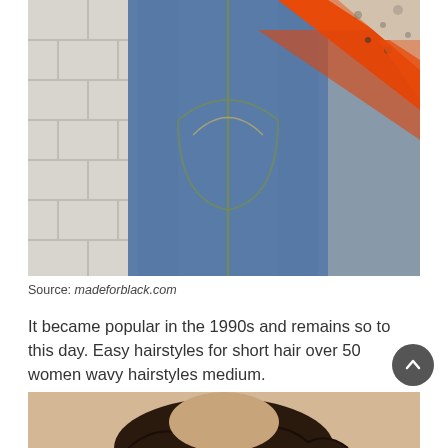[Figure (photo): Close-up photo of person wearing blue denim jeans against a white brick wall background, with a bright orange and animal-print patterned scarf or fabric draped across.]
Source: madeforblack.com
It became popular in the 1990s and remains so to this day. Easy hairstyles for short hair over 50 women wavy hairstyles medium.
[Figure (photo): Bottom portion of a photo showing a person with short dark wavy hair against a light beige background.]